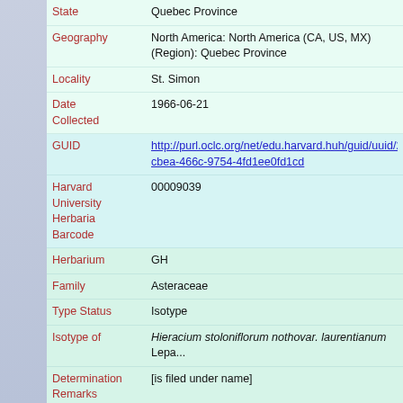| Field | Value |
| --- | --- |
| State | Quebec Province |
| Geography | North America: North America (CA, US, MX) (Region): Quebec Province |
| Locality | St. Simon |
| Date Collected | 1966-06-21 |
| GUID | http://purl.oclc.org/net/edu.harvard.huh/guid/uuid/27e...cbea-466c-9754-4fd1ee0fd1cd |
| Harvard University Herbaria Barcode | 00009039 |
| Herbarium | GH |
| Family | Asteraceae |
| Type Status | Isotype |
| Isotype of | Hieracium stoloniflorum nothovar. laurentianum Lepa... |
| Determination Remarks | [is filed under name] |
| Taxon Reference | (for Hieracium stoloniflorum nothovar. laurentianum Lepage) Naturaliste Canad. 1967. 94: 610. |
| Sex | not determined |
| Phenology | NotDetermined |